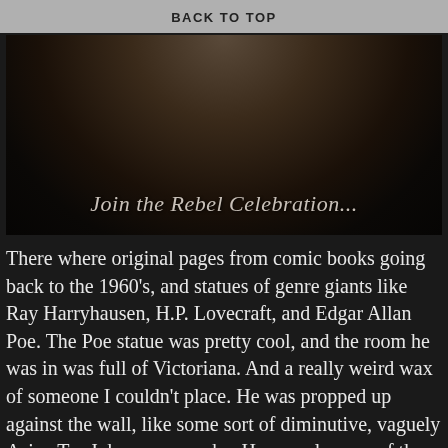BACK TO TOP
[Figure (photo): Dark photo of a person wearing a dark t-shirt with text 'Join the Rebel Celebration...' visible on the shirt]
There where original pages from comic books going back to the 1960's, and statues of genre giants like Ray Harryhausen, H.P. Lovecraft, and Edgar Allan Poe. The Poe statue was pretty cool, and the room he was in was full of Victoriana. And a really weird wax of someone I couldn't place. He was propped up against the wall, like some sort of diminutive, vaguely Asian Tor Johnson wannabe. He was also one of the few standing waxes, and the only one propped against a wall.